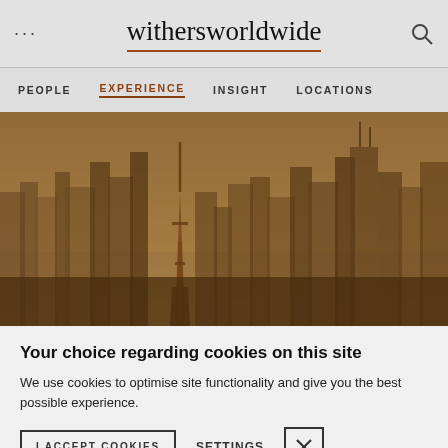withersworldwide
PEOPLE  EXPERIENCE  INSIGHT  LOCATIONS
[Figure (photo): Aerial cityscape of Tokyo with tall skyscrapers and Tokyo Tower visible, rendered with a warm brown/sepia tone overlay]
Your choice regarding cookies on this site
We use cookies to optimise site functionality and give you the best possible experience.
I ACCEPT COOKIES  SETTINGS  [X]